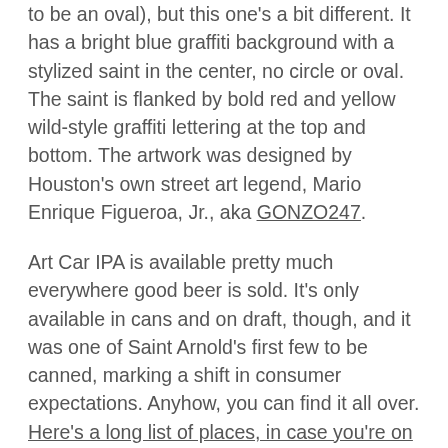to be an oval), but this one's a bit different. It has a bright blue graffiti background with a stylized saint in the center, no circle or oval. The saint is flanked by bold red and yellow wild-style graffiti lettering at the top and bottom. The artwork was designed by Houston's own street art legend, Mario Enrique Figueroa, Jr., aka GONZO247.
Art Car IPA is available pretty much everywhere good beer is sold. It's only available in cans and on draft, though, and it was one of Saint Arnold's first few to be canned, marking a shift in consumer expectations. Anyhow, you can find it all over. Here's a long list of places, in case you're on the hunt.
Art Car IPA is terrific. It's an easy go-to for me, and I don't see that changing any time soon. What'd you think of Art Car IPA? Does it deserve The Mayor's Cup, or does it fall way short of an honorable mention? Let us know in the comments below? Beers to you,